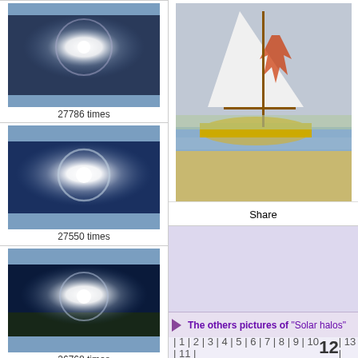[Figure (photo): Solar halo thumbnail, view count 27786 times]
27786 times
[Figure (photo): Solar halo thumbnail, view count 27550 times]
27550 times
[Figure (photo): Solar halo thumbnail, view count 26768 times]
26768 times
[Figure (photo): Solar halo thumbnail with cross silhouette, view count 20536 times]
20536 times
[Figure (photo): Solar halo thumbnail, view count 19604 times]
19604 times
[Figure (photo): Large solar halo thumbnail, view count 19034 times]
19034 times
[Figure (photo): Solar halo thumbnail (partial view at bottom)]
[Figure (photo): Main photo: sailboat on water with colorful sail]
Share
The others pictures of "Solar halos"
| 1 | 2 | 3 | 4 | 5 | 6 | 7 | 8 | 9 | 10 | 11 | 12 | 13 |